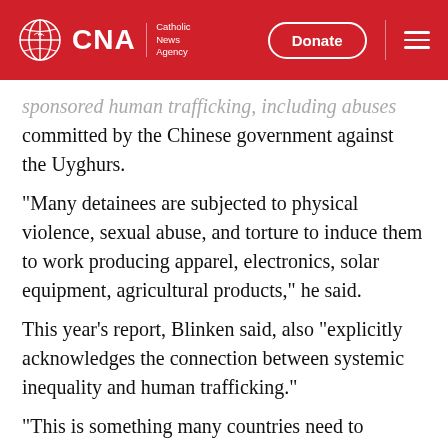CNA | Catholic News Agency — Donate
sponsored human trafficking, including abuses committed by the Chinese government against the Uyghurs.
“Many detainees are subjected to physical violence, sexual abuse, and torture to induce them to work producing apparel, electronics, solar equipment, agricultural products,” he said.
This year’s report, Blinken said, also “explicitly acknowledges the connection between systemic inequality and human trafficking.”
“This is something many countries need to grapple with, including the United States,” Blinken said. “Part of doing right by our people…